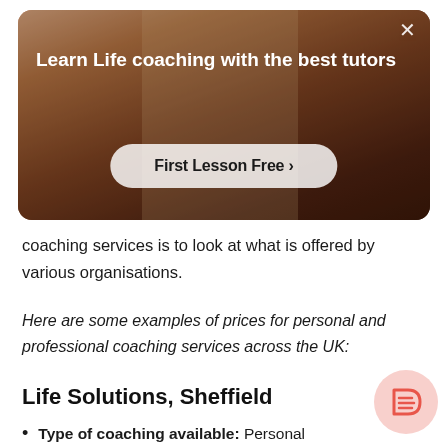[Figure (photo): Banner image showing a person in a red top with arms extended, with overlay text 'Learn Life coaching with the best tutors' and a 'First Lesson Free >' button. A close (×) button is in the top right corner.]
coaching services is to look at what is offered by various organisations.
Here are some examples of prices for personal and professional coaching services across the UK:
Life Solutions, Sheffield
Type of coaching available: Personal